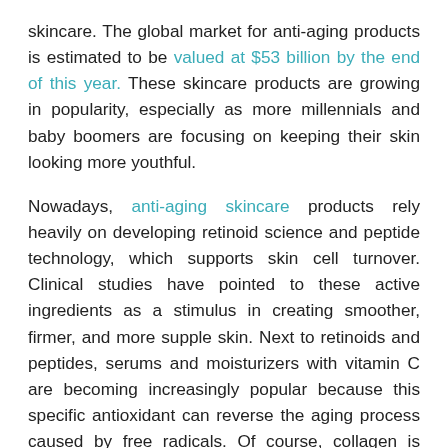skincare. The global market for anti-aging products is estimated to be valued at $53 billion by the end of this year. These skincare products are growing in popularity, especially as more millennials and baby boomers are focusing on keeping their skin looking more youthful.
Nowadays, anti-aging skincare products rely heavily on developing retinoid science and peptide technology, which supports skin cell turnover. Clinical studies have pointed to these active ingredients as a stimulus in creating smoother, firmer, and more supple skin. Next to retinoids and peptides, serums and moisturizers with vitamin C are becoming increasingly popular because this specific antioxidant can reverse the aging process caused by free radicals. Of course, collagen is another superstar ingredient increasing in popularity because it is the protein that's responsible for keeping your skin firm and soft.